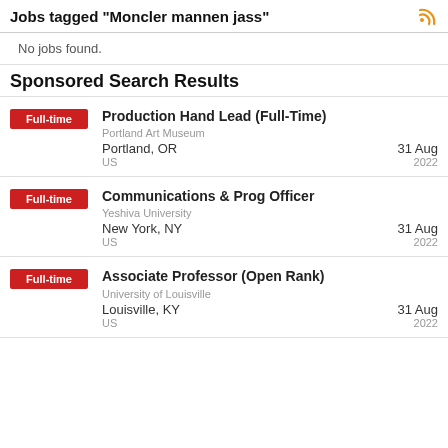Jobs tagged "Moncler mannen jass"
No jobs found.
Sponsored Search Results
Full-time | Production Hand Lead (Full-Time) | Portland Art Museum | Portland, OR | US | 31 Aug 2022
Full-time | Communications & Prog Officer | Yeshiva University | New York, NY | US | 31 Aug 2022
Full-time | Associate Professor (Open Rank) | University of Louisville | Louisville, KY | US | 31 Aug 2022